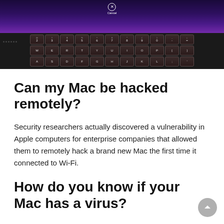[Figure (photo): Close-up photo of a MacBook Air keyboard with colorful screen reflection showing purple and orange gradient. Keys visible include number row and WERTYUIOP row. The MacBook Air branding is visible on the chassis.]
Can my Mac be hacked remotely?
Security researchers actually discovered a vulnerability in Apple computers for enterprise companies that allowed them to remotely hack a brand new Mac the first time it connected to Wi-Fi.
How do you know if your Mac has a virus?